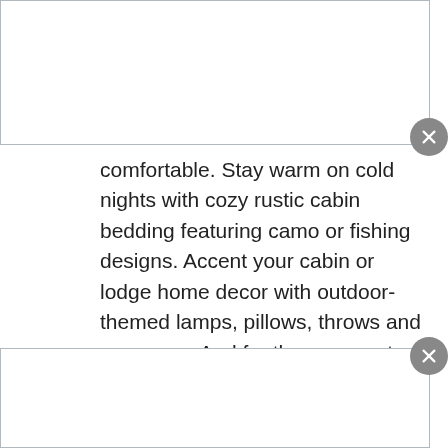comfortable. Stay warm on cold nights with cozy rustic cabin bedding featuring camo or fishing designs. Accent your cabin or lodge home decor with outdoor-themed lamps, pillows, throws and area rugs. And for the youngest fans of the great outdoors, check out Cabela's camo baby bedding.
Country furniture and home decor – If your style is country, check out Cabela's